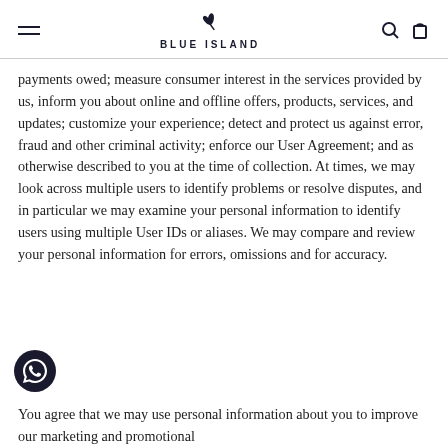BLUE ISLAND
payments owed; measure consumer interest in the services provided by us, inform you about online and offline offers, products, services, and updates; customize your experience; detect and protect us against error, fraud and other criminal activity; enforce our User Agreement; and as otherwise described to you at the time of collection. At times, we may look across multiple users to identify problems or resolve disputes, and in particular we may examine your personal information to identify users using multiple User IDs or aliases. We may compare and review your personal information for errors, omissions and for accuracy.
You agree that we may use personal information about you to improve our marketing and promotional